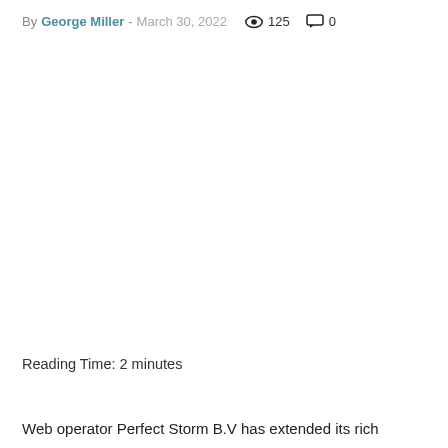By George Miller - March 30, 2022  125  0
Reading Time: 2 minutes
Web operator Perfect Storm B.V has extended its rich